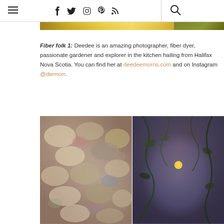≡  f  t  ⚙  ✿  ☰  🔍
[Figure (photo): Top partial image showing a golden/yellow product label with 'HEIRLOOM ALL AMERICAN BOUNCE' text on a warm amber background]
Fiber folk 1: Deedee is an amazing photographer, fiber dyer, passionate gardener and explorer in the kitchen hailing from Halifax Nova Scotia. You can find her at deedeemorris.com and on Instagram @diemorr.
[Figure (photo): Two side-by-side Instagram photos: left shows colorful hand-dyed yarn skeins in muted rainbow tones piled together; right shows a moody portrait of a person with plants/vines around their face against a sunset sky with orange light.]